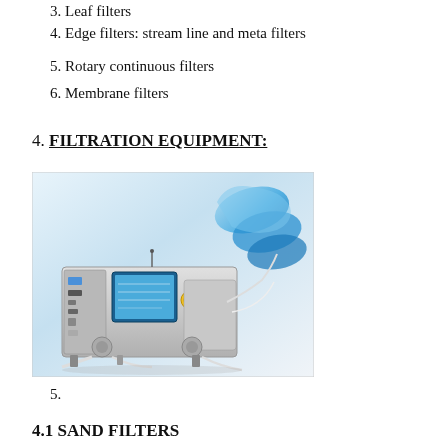3. Leaf filters
4. Edge filters: stream line and meta filters
5. Rotary continuous filters
6. Membrane filters
4. FILTRATION EQUIPMENT:
[Figure (photo): Photograph of filtration equipment: a stainless steel membrane filtration machine with a blue touchscreen control panel, yellow emergency stop button, pumps, tubing, and blue liquid-filled filter bags mounted on the right side, on a white background.]
5.
4.1 SAND FILTERS